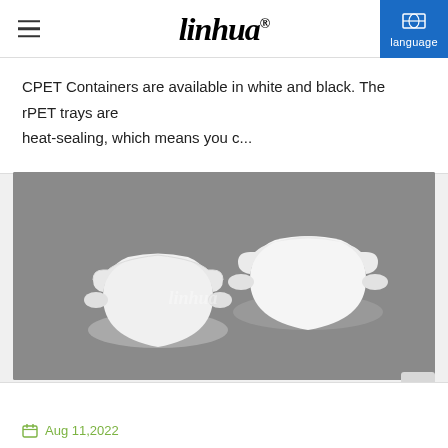linhua®   language
CPET Containers are available in white and black. The rPET trays are heat-sealing, which means you c...
[Figure (photo): Two white CPET food containers/trays with handles, photographed on a grey background. The linhua watermark is visible on the containers.]
Aug 11,2022